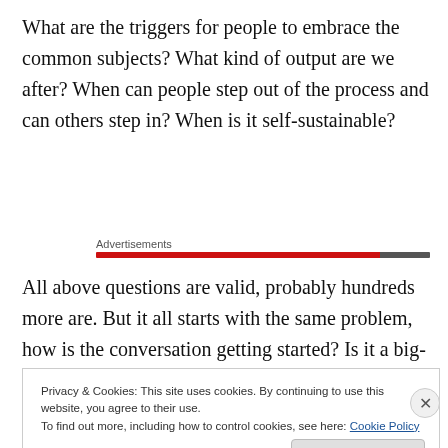What are the triggers for people to embrace the common subjects? What kind of output are we after? When can people step out of the process and can others step in? When is it self-sustainable?
Advertisements
All above questions are valid, probably hundreds more are. But it all starts with the same problem, how is the conversation getting started? Is it a big-bang or is it
Privacy & Cookies: This site uses cookies. By continuing to use this website, you agree to their use.
To find out more, including how to control cookies, see here: Cookie Policy